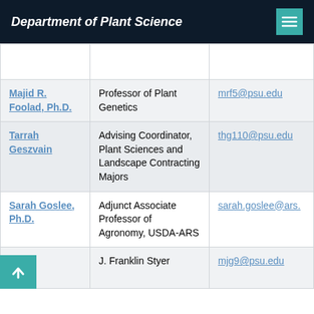Department of Plant Science
| Name | Title | Email |
| --- | --- | --- |
| Majid R. Foolad, Ph.D. | Professor of Plant Genetics | mrf5@psu.edu |
| Tarrah Geszvain | Advising Coordinator, Plant Sciences and Landscape Contracting Majors | thg110@psu.edu |
| Sarah Goslee, Ph.D. | Adjunct Associate Professor of Agronomy, USDA-ARS | sarah.goslee@ars. |
| Mark | J. Franklin Styer | mjg9@psu.edu |